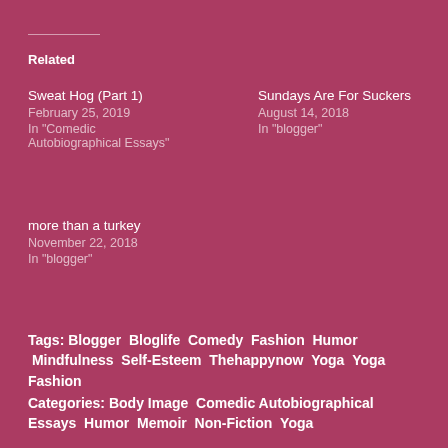Related
Sweat Hog (Part 1)
February 25, 2019
In "Comedic Autobiographical Essays"
Sundays Are For Suckers
August 14, 2018
In "blogger"
more than a turkey
November 22, 2018
In "blogger"
Tags: Blogger  Bloglife  Comedy  Fashion  Humor  Mindfulness  Self-Esteem  Thehappynow  Yoga  Yoga Fashion
Categories: Body Image  Comedic Autobiographical Essays  Humor  Memoir  Non-Fiction  Yoga